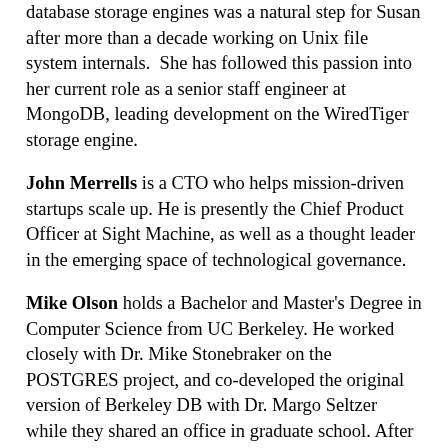database storage engines was a natural step for Susan after more than a decade working on Unix file system internals. She has followed this passion into her current role as a senior staff engineer at MongoDB, leading development on the WiredTiger storage engine.
John Merrells is a CTO who helps mission-driven startups scale up. He is presently the Chief Product Officer at Sight Machine, as well as a thought leader in the emerging space of technological governance.
Mike Olson holds a Bachelor and Master's Degree in Computer Science from UC Berkeley. He worked closely with Dr. Mike Stonebraker on the POSTGRES project, and co-developed the original version of Berkeley DB with Dr. Margo Seltzer while they shared an office in graduate school. After leaving the University, he worked at a number of database software companies. Highlights include Sleepycat, where he began as VP Sales and Marketing and eventually became CEO, and Cloudera, which he co-founded in 2008.
Scion of physicists and engineers, Carol Sandstrom tried out biology, university administration, financial management, and Internet provisioning before stumbling into a career in software test, QA and release engineering, where she remains happily to this